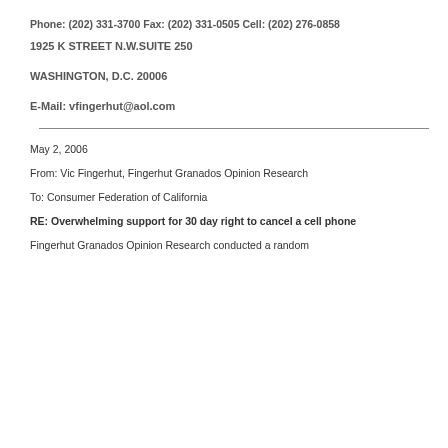Phone: (202) 331-3700 Fax: (202) 331-0505 Cell: (202) 276-0858
1925 K STREET N.W.SUITE 250
WASHINGTON, D.C. 20006
E-Mail: vfingerhut@aol.com
May 2, 2006
From: Vic Fingerhut, Fingerhut Granados Opinion Research
To: Consumer Federation of California
RE: Overwhelming support for 30 day right to cancel a cell phone
Fingerhut Granados Opinion Research conducted a random